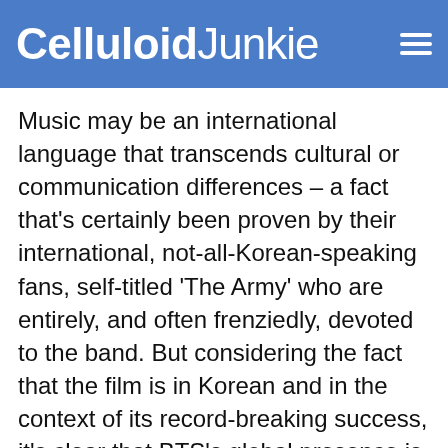Celluloid Junkie
Music may be an international language that transcends cultural or communication differences – a fact that's certainly been proven by their international, not-all-Korean-speaking fans, self-titled 'The Army' who are entirely, and often frenziedly, devoted to the band. But considering the fact that the film is in Korean and in the context of its record-breaking success, it's clear that BTS's global presence is to be taken seriously,
We and selected third parties use cookies or similar technologies for technical purposes and, with your consent, for other purposes as specified in the cookie policy. You can freely give, deny, or withdraw your consent at any time. You can consent to the use of such technologies by using the "Ok" button. By closing this notice, you continue without accepting.